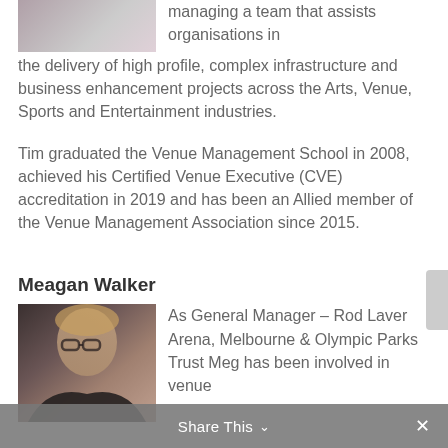[Figure (photo): Partial view of a person in a suit and purple shirt, cropped at top of page]
managing a team that assists organisations in the delivery of high profile, complex infrastructure and business enhancement projects across the Arts, Venue, Sports and Entertainment industries.
Tim graduated the Venue Management School in 2008, achieved his Certified Venue Executive (CVE) accreditation in 2019 and has been an Allied member of the Venue Management Association since 2015.
Meagan Walker
[Figure (photo): Photo of Meagan Walker, a woman with glasses and short blonde hair, wearing a dark jacket]
As General Manager – Rod Laver Arena, Melbourne & Olympic Parks Trust Meg has been involved in venue
Share This ∨  ✕